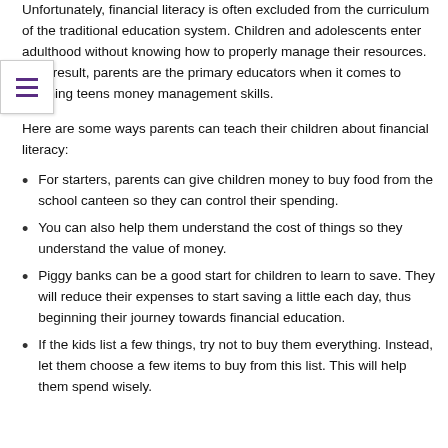Unfortunately, financial literacy is often excluded from the curriculum of the traditional education system. Children and adolescents enter adulthood without knowing how to properly manage their resources. As a result, parents are the primary educators when it comes to teaching teens money management skills.
Here are some ways parents can teach their children about financial literacy:
For starters, parents can give children money to buy food from the school canteen so they can control their spending.
You can also help them understand the cost of things so they understand the value of money.
Piggy banks can be a good start for children to learn to save. They will reduce their expenses to start saving a little each day, thus beginning their journey towards financial education.
If the kids list a few things, try not to buy them everything. Instead, let them choose a few items to buy from this list. This will help them spend wisely.